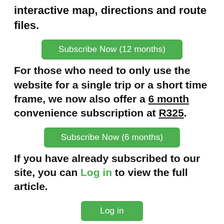interactive map, directions and route files.
[Figure (other): Green button: Subscribe Now (12 months)]
For those who need to only use the website for a single trip or a short time frame, we now also offer a 6 month convenience subscription at R325.
[Figure (other): Green button: Subscribe Now (6 months)]
If you have already subscribed to our site, you can Log in to view the full article.
[Figure (other): Green button: Log in]
You will be fully...